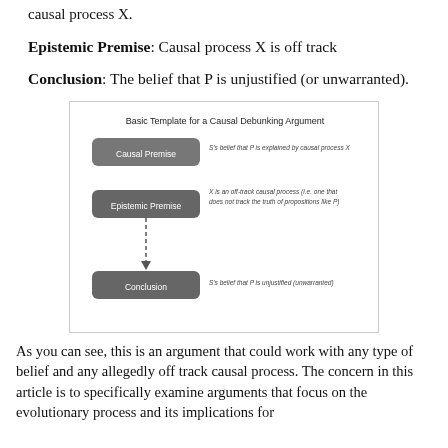causal process X.
Epistemic Premise: Causal process X is off track
Conclusion: The belief that P is unjustified (or unwarranted).
[Figure (flowchart): Basic Template for a Causal Debunking Argument. Three boxes: Causal Premise (S's belief that P is explained by causal process X), Epistemic Premise (X is an off-track causal process (i.e. one that does not track the truth of propositions like P)), and Conclusion (S's belief that P is unjustified/unwarranted). A dashed arrow points from Epistemic Premise down to Conclusion.]
As you can see, this is an argument that could work with any type of belief and any allegedly off track causal process. The concern in this article is to specifically examine arguments that focus on the evolutionary process and its implications for